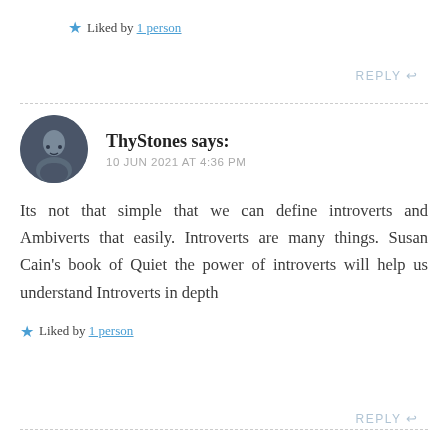★ Liked by 1 person
REPLY ↩
ThyStones says: 10 JUN 2021 AT 4:36 PM
Its not that simple that we can define introverts and Ambiverts that easily. Introverts are many things. Susan Cain's book of Quiet the power of introverts will help us understand Introverts in depth
★ Liked by 1 person
REPLY ↩